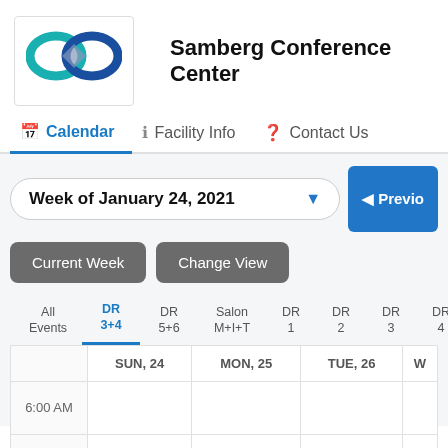[Figure (logo): Samberg Conference Center logo: teal/blue infinity loop with a diamond shape]
Samberg Conference Center
Calendar | Facility Info | Contact Us
Week of January 24, 2021
Current Week   Change View
All Events | DR 3+4 | DR 5+6 | Salon M+I+T | DR 1 | DR 2 | DR 3 | DR 4 | D 5
|  | SUN, 24 | MON, 25 | TUE, 26 | W |
| --- | --- | --- | --- | --- |
| 6:00 AM |  |  |  |  |
| 6:30 AM |  |  |  |  |